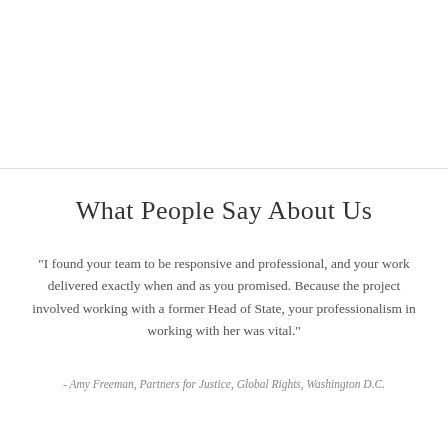What People Say About Us
"I found your team to be responsive and professional, and your work delivered exactly when and as you promised. Because the project involved working with a former Head of State, your professionalism in working with her was vital."
- Amy Freeman, Partners for Justice, Global Rights, Washington D.C.